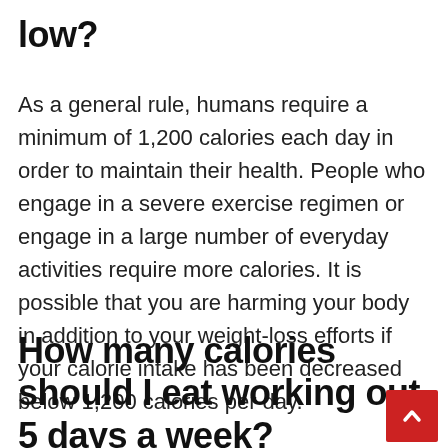How much calories is too low?
As a general rule, humans require a minimum of 1,200 calories each day in order to maintain their health. People who engage in a severe exercise regimen or engage in a large number of everyday activities require more calories. It is possible that you are harming your body in addition to your weight-loss efforts if your calorie intake has been decreased below 1,200 calories per day.
How many calories should I eat working out 5 days a week?